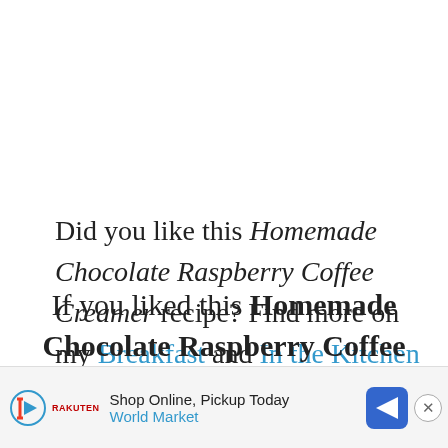Did you like this Homemade Chocolate Raspberry Coffee Creamer recipe? Find more on my Breakfast and In the Kitchen boards on Pinterest!
If you liked this Homemade Chocolate Raspberry Coffee...
[Figure (screenshot): Advertisement banner at bottom: Shop Online, Pickup Today - World Market, with play button, logo, navigation arrow icon, and close button]